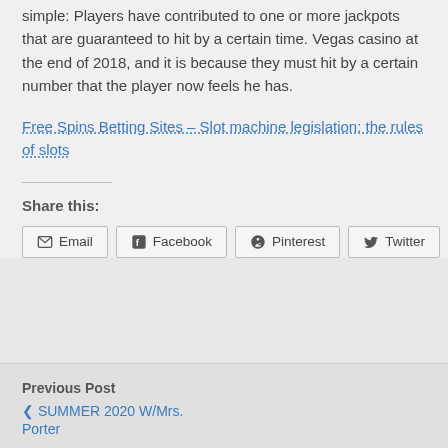simple: Players have contributed to one or more jackpots that are guaranteed to hit by a certain time. Vegas casino at the end of 2018, and it is because they must hit by a certain number that the player now feels he has.
Free Spins Betting Sites – Slot machine legislation: the rules of slots
Share this:
Email  Facebook  Pinterest  Twitter
Previous Post
SUMMER 2020 W/Mrs. Porter